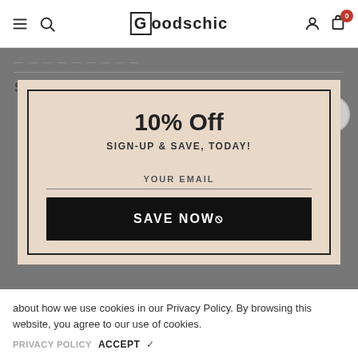Goodschic
SHIPPING & RETURN
10% Off
SIGN-UP & SAVE, TODAY!
YOUR EMAIL
SAVE NOW🏷
about how we use cookies in our Privacy Policy. By browsing this website, you agree to our use of cookies.
PRIVACY POLICY  ACCEPT  ✓